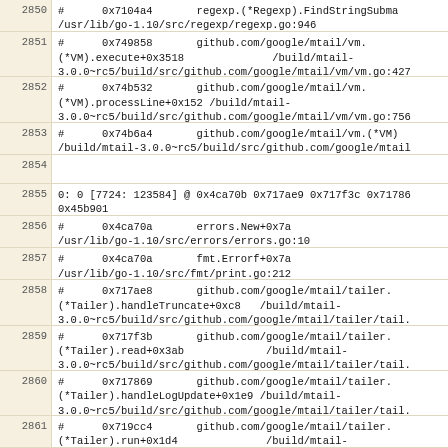2850  #      0x7104a4       regexp.(*Regexp).FindStringSubma
/usr/lib/go-1.10/src/regexp/regexp.go:946
2851  #      0x749858       github.com/google/mtail/vm.
(*VM).execute+0x3518              /build/mtail-3.0.0~rc5/build/src/github.com/google/mtail/vm/vm.go:427
2852  #      0x74b532       github.com/google/mtail/vm.
(*VM).processLine+0x152 /build/mtail-3.0.0~rc5/build/src/github.com/google/mtail/vm/vm.go:756
2853  #      0x74b6a4       github.com/google/mtail/vm.(*VM)
/build/mtail-3.0.0~rc5/build/src/github.com/google/mtail
2854
2855  0: 0 [7724: 123584] @ 0x4ca70b 0x717ae9 0x717f3c 0x71786
0x45b901
2856  #      0x4ca70a       errors.New+0x7a
/usr/lib/go-1.10/src/errors/errors.go:10
2857  #      0x4ca70a       fmt.Errorf+0x7a
/usr/lib/go-1.10/src/fmt/print.go:212
2858  #      0x717ae8       github.com/google/mtail/tailer.
(*Tailer).handleTruncate+0xc8   /build/mtail-3.0.0~rc5/build/src/github.com/google/mtail/tailer/tail.
2859  #      0x717f3b       github.com/google/mtail/tailer.
(*Tailer).read+0x3ab             /build/mtail-3.0.0~rc5/build/src/github.com/google/mtail/tailer/tail.
2860  #      0x717869       github.com/google/mtail/tailer.
(*Tailer).handleLogUpdate+0x1e9 /build/mtail-3.0.0~rc5/build/src/github.com/google/mtail/tailer/tail.
2861  #      0x719cc4       github.com/google/mtail/tailer.
(*Tailer).run+0x1d4              /build/mtail-